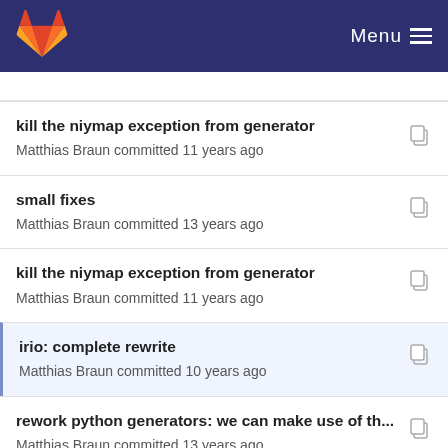GitLab — Menu
kill the niymap exception from generator
Matthias Braun committed 11 years ago
small fixes
Matthias Braun committed 13 years ago
kill the niymap exception from generator
Matthias Braun committed 11 years ago
irio: complete rewrite
Matthias Braun committed 10 years ago
rework python generators: we can make use of th...
Matthias Braun committed 13 years ago
put node descriptions into the spec file
Matthias Braun committed 11 years ago
Imprint